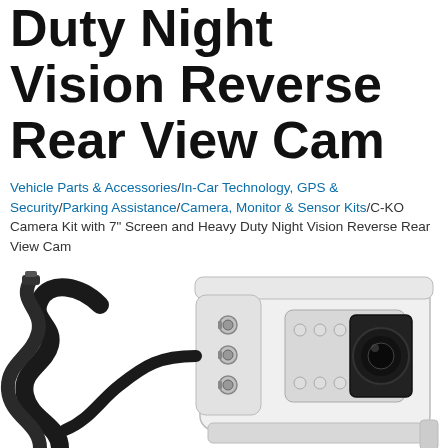Duty Night Vision Reverse Rear View Cam
Vehicle Parts & Accessories/In-Car Technology, GPS & Security/Parking Assistance/Camera, Monitor & Sensor Kits/C-KO Camera Kit with 7" Screen and Heavy Duty Night Vision Reverse Rear View Cam
[Figure (photo): White heavy duty night vision reverse rear view camera with black cable and multiple connector ports on front face, shown on white background]